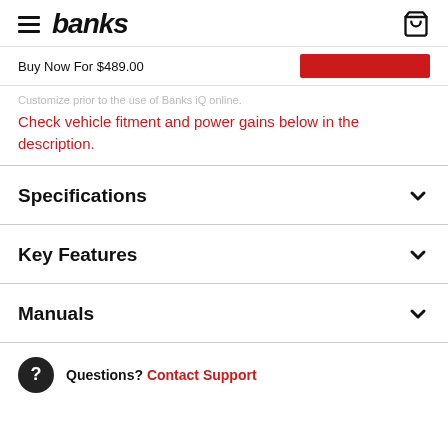banks
Buy Now For $489.00
Check vehicle fitment and power gains below in the description.
Specifications
Key Features
Manuals
Questions? Contact Support